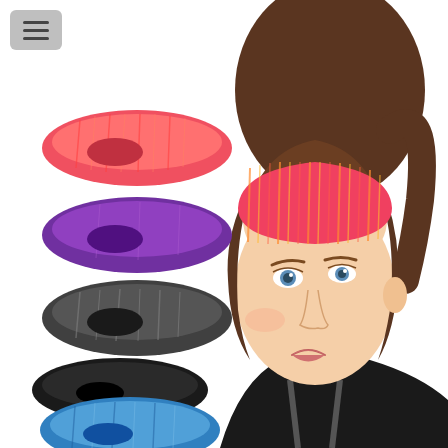[Figure (photo): Product photo showing five sports/athletic headbands in different colors (red/coral, purple, dark gray/charcoal, black, and blue), displayed stacked on the left side. On the right, a young woman with brown hair in a ponytail wearing the coral/pink striped headband, shown in profile/three-quarter view wearing a black sports top.]